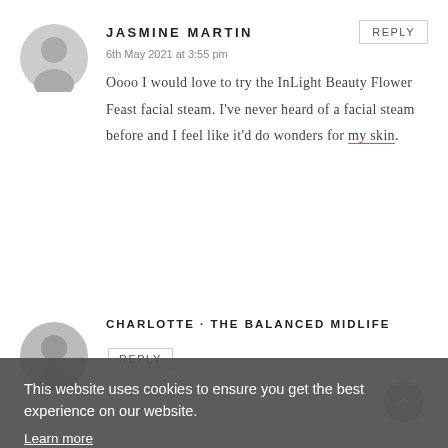[Figure (illustration): Gray default user avatar icon for Jasmine Martin]
JASMINE MARTIN
REPLY
6th May 2021 at 3:55 pm
Oooo I would love to try the InLight Beauty Flower Feast facial steam. I've never heard of a facial steam before and I feel like it'd do wonders for my skin.
[Figure (illustration): Gray default user avatar icon for Charlotte - The Balanced Midlife]
CHARLOTTE · THE BALANCED MIDLIFE
REPLY
This website uses cookies to ensure you get the best experience on our website.
Learn more
OKAY